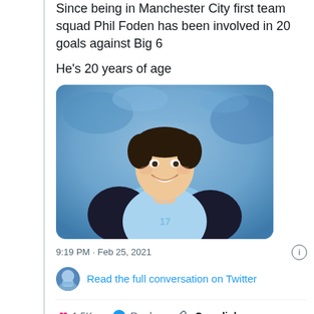Since being in Manchester City first team squad Phil Foden has been involved in 20 goals against Big 6

He's 20 years of age
[Figure (photo): Photo of Phil Foden smiling, wearing a light blue Manchester City training top with dark jacket, blurred crowd in background]
9:19 PM · Feb 25, 2021
Read the full conversation on Twitter
1.5K   Reply   Copy link
Read 11 replies